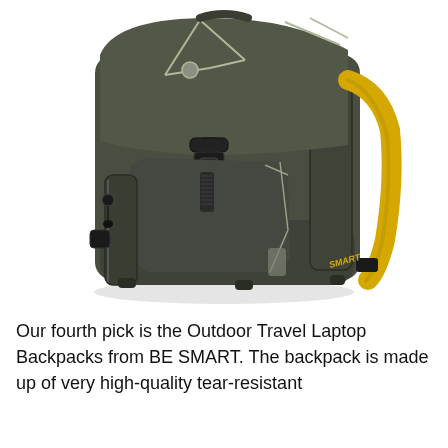[Figure (photo): A dark olive/charcoal tactical-style laptop backpack with yellow shoulder straps visible on the right side, geometric silver reflective lines on the front flap, a black buckle closure, a front zip pocket with a pull tab, and a side zipper. The backpack is photographed against a white background.]
Our fourth pick is the Outdoor Travel Laptop Backpacks from BE SMART. The backpack is made up of very high-quality tear-resistant